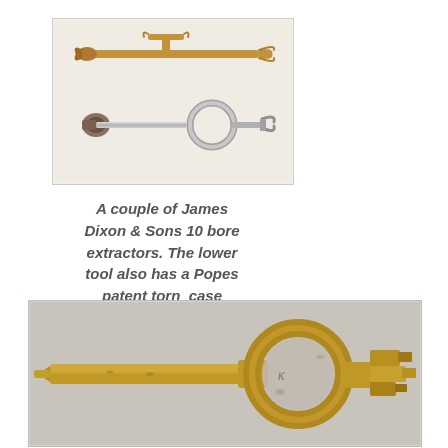[Figure (photo): Two James Dixon & Sons 10 bore extractors photographed on a white background. The top one is a brass/copper colored extractor with a curved handle and hook ends. The lower one is a silver/steel colored extractor with a circular ring in the middle and hook ends, with a Popes patent torn case remover attached.]
A couple of James Dixon & Sons 10 bore extractors. The lower tool also has a Popes patent torn case remover.
[Figure (photo): Close-up photograph of a brass/gold colored James Dixon & Sons 10 bore extractor with a long flat handle on the left, a large circular ring in the center, and a multi-step hook/extractor mechanism on the right end. The tool has a worn, aged appearance with some dark spots.]